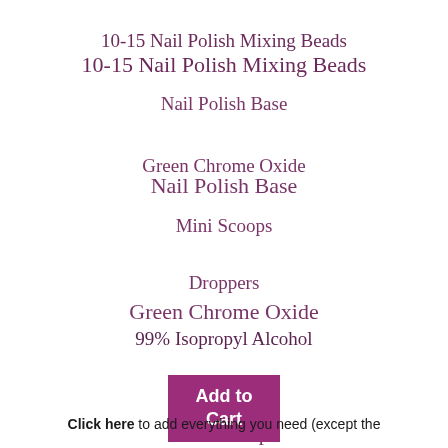10-15 Nail Polish Mixing Beads
Nail Polish Base
Green Chrome Oxide
Mini Scoops
Droppers
99% Isopropyl Alcohol
[Figure (other): Purple 'Add to Cart' button]
Click here to add everything you need (except the